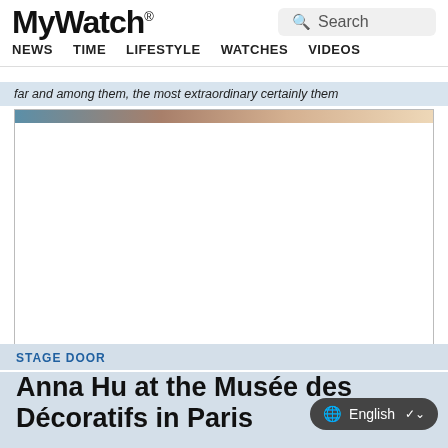MyWatch® | NEWS  TIME  LIFESTYLE  WATCHES  VIDEOS | Search
far and among them, the most extraordinary certainly them
[Figure (photo): Partially visible photograph showing faces/people at the top, with a large white blank area below, bordered by a thin line]
STAGE DOOR
Anna Hu at the Musée des Décoratifs in Paris